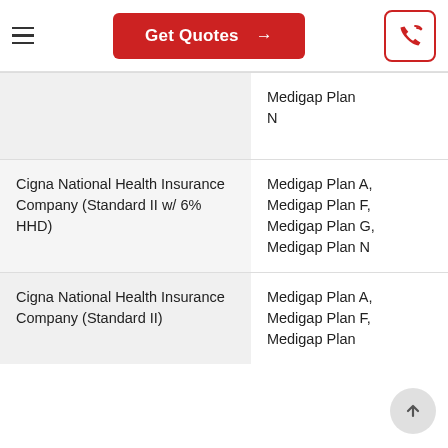Get Quotes →
| Company | Plans Available |
| --- | --- |
|  | Medigap Plan N |
| Cigna National Health Insurance Company (Standard II w/ 6% HHD) | Medigap Plan A,
Medigap Plan F,
Medigap Plan G,
Medigap Plan N |
| Cigna National Health Insurance Company (Standard II) | Medigap Plan A,
Medigap Plan F,
Medigap Plan |